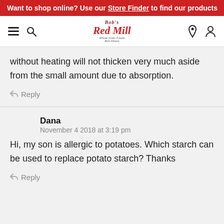Want to shop online? Use our Store Finder to find our products
[Figure (logo): Bob's Red Mill logo with hamburger menu, search, pin, and user icons]
without heating will not thicken very much aside from the small amount due to absorption.
Reply
Dana
November 4 2018 at 3:19 pm
Hi, my son is allergic to potatoes. Which starch can be used to replace potato starch? Thanks
Reply